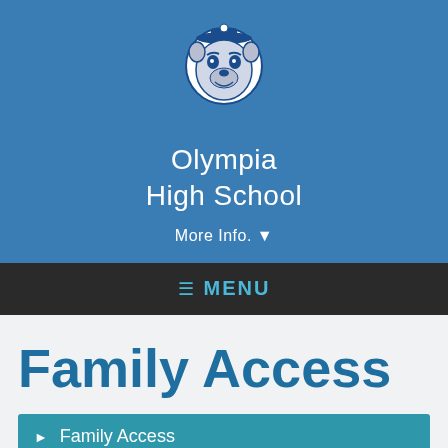[Figure (logo): Olympia High School bulldog mascot logo in blue and white]
Olympia High School
More Info. ▾
≡  MENU
Family Access
▶  Family Access
Olympia High